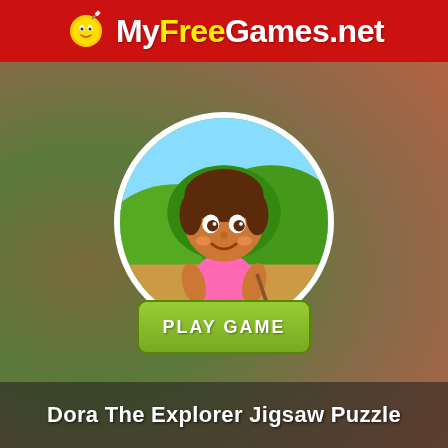MyFreeGames.net
[Figure (illustration): Circular game thumbnail showing Dora the Explorer character (animated girl with brown bob haircut, pink shirt) in a jungle/outdoor background with green trees and blue sky. Below the circle is a green rounded-rectangle button labeled PLAY GAME.]
Dora The Explorer Jigsaw Puzzle